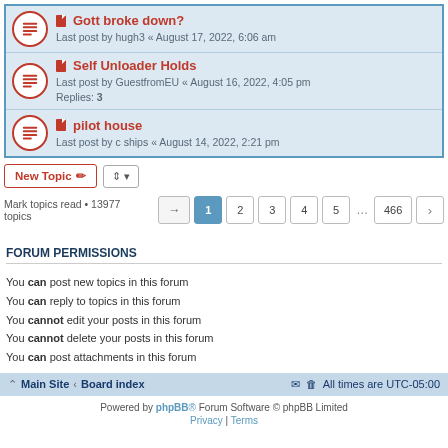Gott broke down? | Last post by hugh3 « August 17, 2022, 6:06 am
Self Unloader Holds | Last post by GuestfromEU « August 16, 2022, 4:05 pm | Replies: 3
pilot house | Last post by c ships « August 14, 2022, 2:21 pm
New Topic | sort controls
Mark topics read • 13977 topics | Page navigation: 1 2 3 4 5 ... 466
FORUM PERMISSIONS
You can post new topics in this forum
You can reply to topics in this forum
You cannot edit your posts in this forum
You cannot delete your posts in this forum
You can post attachments in this forum
Main Site · Board index | All times are UTC-05:00 | Powered by phpBB® Forum Software © phpBB Limited | Privacy | Terms